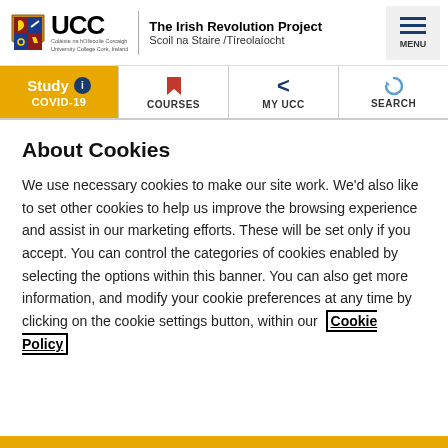UCC | The Irish Revolution Project | Scoil na Staire /Tíreolaíocht
[Figure (logo): UCC university crest/shield logo with text 'Coláiste na hOllscoile Corcaigh, University College Cork, Ireland']
About Cookies
We use necessary cookies to make our site work. We'd also like to set other cookies to help us improve the browsing experience and assist in our marketing efforts. These will be set only if you accept. You can control the categories of cookies enabled by selecting the options within this banner. You can also get more information, and modify your cookie preferences at any time by clicking on the cookie settings button, within our Cookie Policy